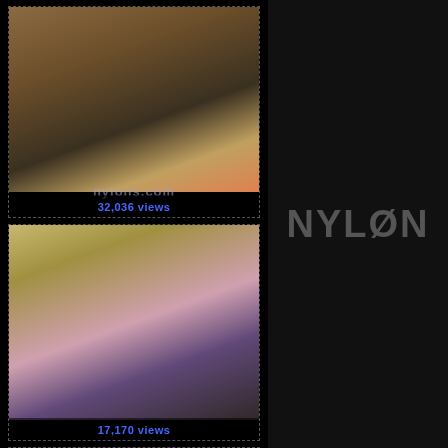[Figure (photo): Close-up photo of high heel shoes on a wooden floor, black and red stilettos]
32,036 views
[Figure (photo): Woman in purple lingerie and leopard coat seated on a striped sofa, wearing a mask]
17,170 views
[Figure (photo): Partial photo, dark tones, woman with dark hair]
[Figure (logo): NYLON website logo in grey block letters on dark background]